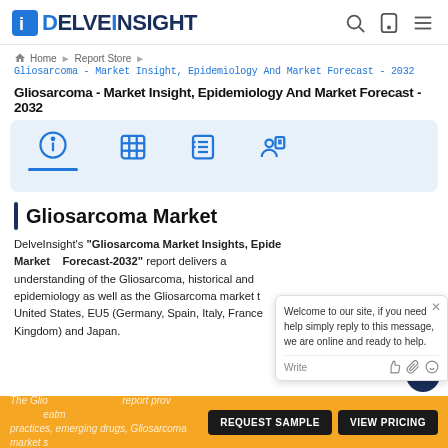DELVEINSIGHT
Home > Report Store > Gliosarcoma - Market Insight, Epidemiology And Market Forecast - 2032
Gliosarcoma - Market Insight, Epidemiology And Market Forecast - 2032
[Figure (infographic): Icon tab bar with four icons: info, table/grid, checklist, and person with document, on light blue background. Blue underline on first tab.]
Gliosarcoma Market
DelveInsight's "Gliosarcoma Market Insights, Epidemiology And Market Forecast-2032" report delivers a comprehensive understanding of the Gliosarcoma, historical and current epidemiology as well as the Gliosarcoma market trends in the United States, EU5 (Germany, Spain, Italy, France, and the United Kingdom) and Japan.
The Gliosarcoma report provides the treatment practices, emerging drugs, Gliosarcoma market share of the